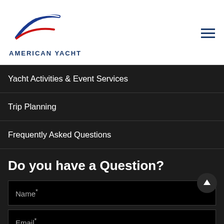[Figure (logo): American Yacht logo with stylized swoosh in red, white, and blue above text 'AMERICAN YACHT']
Yacht Activities & Event Services
Trip Planning
Frequently Asked Questions
Do you have a Question?
Name*
Email*
Message